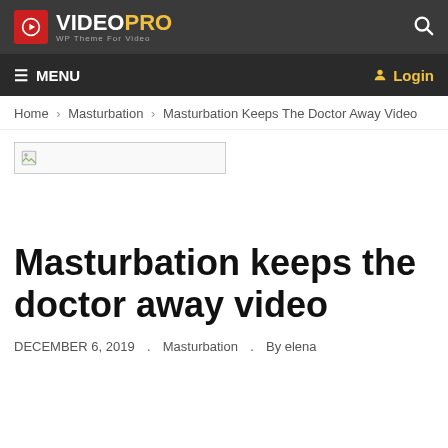VIDEO PRO — WP Theme For Video
≡ MENU  Login
Home > Masturbation > Masturbation Keeps The Doctor Away Video
[Figure (other): Broken image placeholder thumbnail]
Masturbation keeps the doctor away video
DECEMBER 6, 2019  .  Masturbation  .  By elena